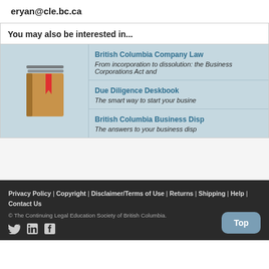eryan@cle.bc.ca
You may also be interested in...
[Figure (illustration): Icon of a book with a red bookmark]
British Columbia Company Law
From incorporation to dissolution: the Business Corporations Act and
Due Diligence Deskbook
The smart way to start your business
British Columbia Business Disp
The answers to your business disp
Privacy Policy | Copyright | Disclaimer/Terms of Use | Returns | Shipping | Help | Contact Us
© The Continuing Legal Education Society of British Columbia.